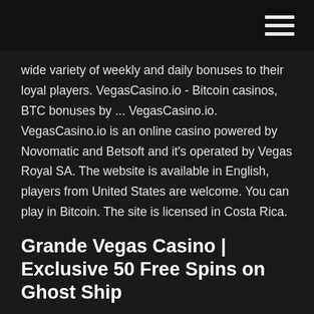wide variety of weekly and daily bonuses to their loyal players. VegasCasino.io - Bitcoin casinos, BTC bonuses by ... VegasCasino.io. VegasCasino.io is an online casino powered by Novomatic and Betsoft and it's operated by Vegas Royal SA. The website is available in English, players from United States are welcome. You can play in Bitcoin. The site is licensed in Costa Rica.
Grande Vegas Casino | Exclusive 50 Free Spins on Ghost Ship
Jupiter Club - Best Online Casino Jupiter Club Online Casino. Calling Jupiter Club online casino a “jewel” is a bold move, 'cause all that glitters is not gold. But with a